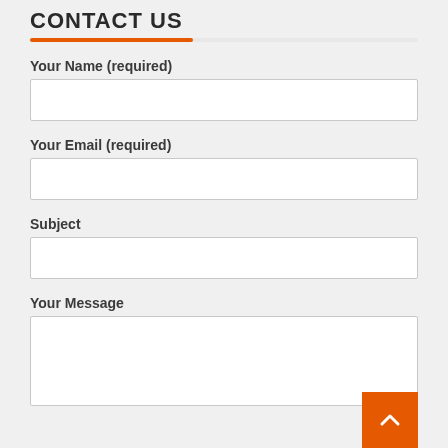CONTACT US
Your Name (required)
[Figure (other): Text input field for Your Name]
Your Email (required)
[Figure (other): Text input field for Your Email]
Subject
[Figure (other): Text input field for Subject]
Your Message
[Figure (other): Textarea for Your Message]
[Figure (other): Back to top orange button with up arrow]